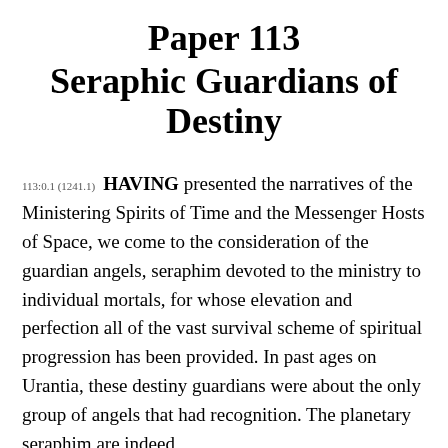Paper 113
Seraphic Guardians of Destiny
113:0.1 (1241.1)    HAVING presented the narratives of the Ministering Spirits of Time and the Messenger Hosts of Space, we come to the consideration of the guardian angels, seraphim devoted to the ministry to individual mortals, for whose elevation and perfection all of the vast survival scheme of spiritual progression has been provided. In past ages on Urantia, these destiny guardians were about the only group of angels that had recognition. The planetary seraphim are indeed